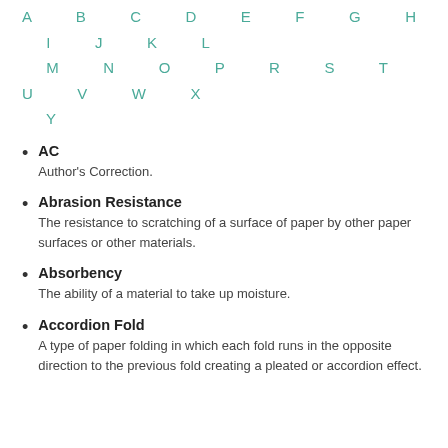A B C D E F G H I J K L M N O P R S T U V W X Y
AC
Author's Correction.
Abrasion Resistance
The resistance to scratching of a surface of paper by other paper surfaces or other materials.
Absorbency
The ability of a material to take up moisture.
Accordion Fold
A type of paper folding in which each fold runs in the opposite direction to the previous fold creating a pleated or accordion effect.